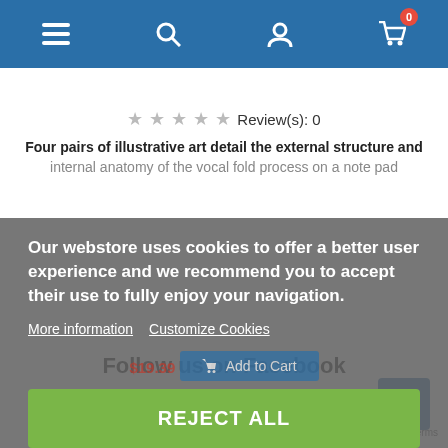[Figure (screenshot): Mobile webstore navigation bar with hamburger menu, search, user account, and shopping cart icons on blue background. Cart shows badge with 0.]
Review(s): 0
Four pairs of illustrative art detail the external structure and internal anatomy of the vocal fold process on a note pad
Our webstore uses cookies to offer a better user experience and we recommend you to accept their use to fully enjoy your navigation.
More information   Customize Cookies
REJECT ALL
I ACCEPT
BACK TO TOP ^
Follow us on Facebook
Privacy · Terms